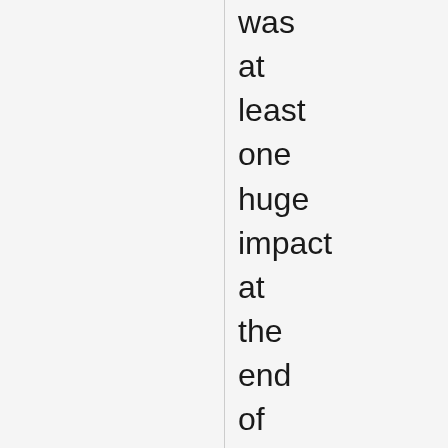was at least one huge impact at the end of the Cretaceous that led to the